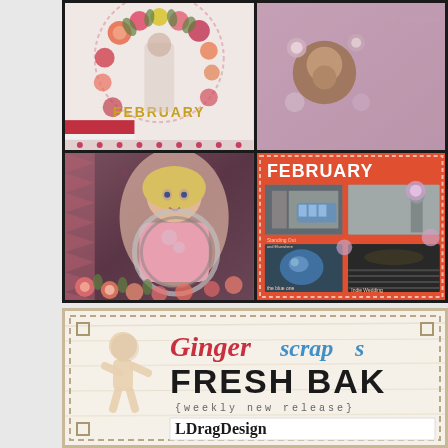[Figure (photo): Scrapbook collage of four digital scrapbook pages: top-left features a floral wreath with 'FEBRUARY' text, top-right is a mauve/pink background with circular photo of baby and floral elements, bottom-left shows a young blonde girl smiling in pink pajamas surrounded by floral decorations on dark background, bottom-right shows a 'FEBRUARY' travel scrapbook layout with multiple photos of city scenes and an auditorium]
[Figure (photo): Gingerscraps Fresh Bake banner/advertisement on wood-grain background with dashed border, gingerbread man silhouette, 'Gingerscrap' in red/blue script, 'FRESH BAK...' in large black bold text, '{weekly new release}' in monospace, and 'LDragDesign...' text on white card]